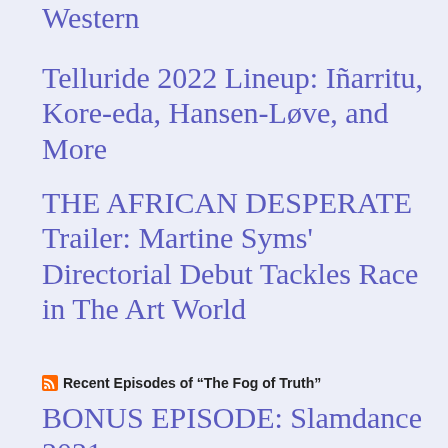Western
Telluride 2022 Lineup: Iñarritu, Kore-eda, Hansen-Løve, and More
THE AFRICAN DESPERATE Trailer: Martine Syms' Directorial Debut Tackles Race in The Art World
Recent Episodes of “The Fog of Truth”
BONUS EPISODE: Slamdance 2021